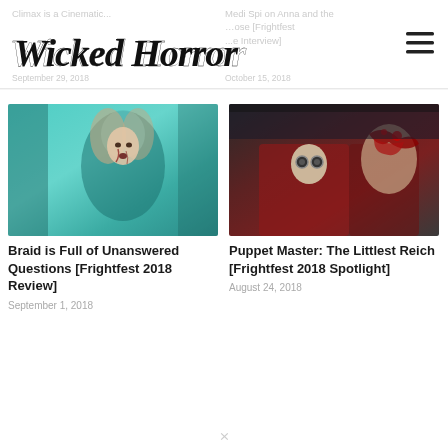Wicked Horror
Climax is a Cinematic...
Medi Spi on Anna and the ...ose [Frightfest ...e Interview]
[Figure (photo): Horror movie still from Braid – woman with blood on her face against teal background]
Braid is Full of Unanswered Questions [Frightfest 2018 Review]
September 1, 2018
[Figure (photo): Horror movie still from Puppet Master: The Littlest Reich – bloody puppet and a gore scene]
Puppet Master: The Littlest Reich [Frightfest 2018 Spotlight]
August 24, 2018